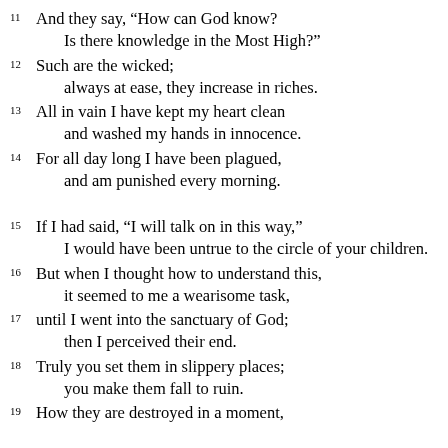11 And they say, “How can God know? Is there knowledge in the Most High?”
12 Such are the wicked; always at ease, they increase in riches.
13 All in vain I have kept my heart clean and washed my hands in innocence.
14 For all day long I have been plagued, and am punished every morning.
15 If I had said, “I will talk on in this way,” I would have been untrue to the circle of your children.
16 But when I thought how to understand this, it seemed to me a wearisome task,
17 until I went into the sanctuary of God; then I perceived their end.
18 Truly you set them in slippery places; you make them fall to ruin.
19 How they are destroyed in a moment,